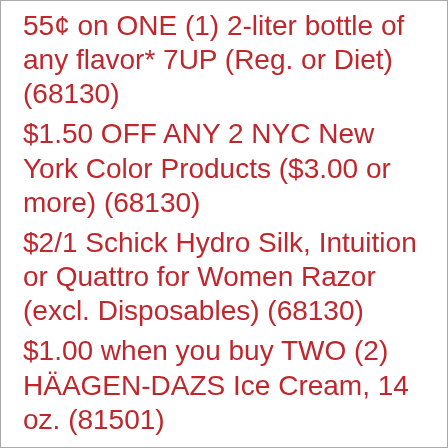55¢ on ONE (1) 2-liter bottle of any flavor* 7UP (Reg. or Diet) (68130)
$1.50 OFF ANY 2 NYC New York Color Products ($3.00 or more) (68130)
$2/1 Schick Hydro Silk, Intuition or Quattro for Women Razor (excl. Disposables) (68130)
$1.00 when you buy TWO (2) HÄAGEN-DAZS Ice Cream, 14 oz. (81501)